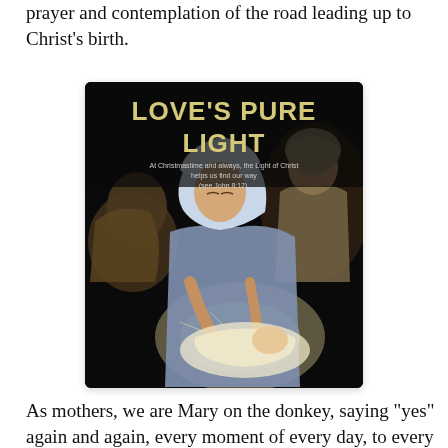prayer and contemplation of the road leading up to Christ's birth.
[Figure (photo): Book cover titled 'LOVE'S PURE LIGHT' showing a nativity scene with Mary in a blue headscarf looking down at the baby Jesus, with other figures in the background. Subtitle text reads: 'At Christmastime and always, the Light of Christ helps us find our way (see John 8:12).']
As mothers, we are Mary on the donkey, saying "yes" again and again, every moment of every day, to every challenge,